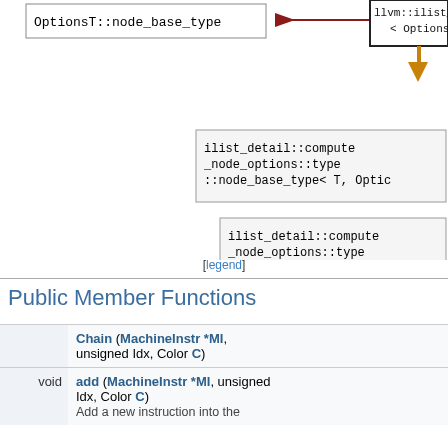[Figure (engineering-diagram): Inheritance/type diagram showing OptionsT::node_base_type with arrow from llvm::ilist_node_impl<OptionsT>, and two ilist_detail::compute_node_options::type::node_base_type template specializations]
[legend]
Public Member Functions
|  |  |
| --- | --- |
|  | Chain (MachineInstr *MI, unsigned Idx, Color C) |
| void | add (MachineInstr *MI, unsigned Idx, Color C) Add a new instruction into the |